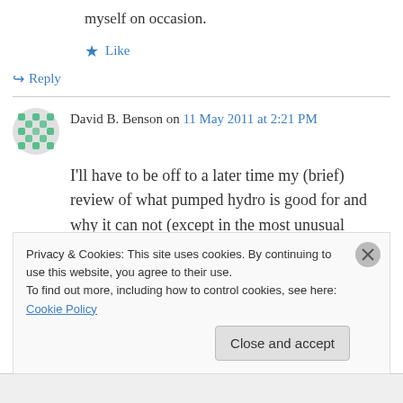myself on occasion.
★ Like
↪ Reply
David B. Benson on 11 May 2011 at 2:21 PM
I'll have to be off to a later time my (brief) review of what pumped hydro is good for and why it can not (except in the most unusual terrain) be a solution for storing substantial amounts of
Privacy & Cookies: This site uses cookies. By continuing to use this website, you agree to their use.
To find out more, including how to control cookies, see here: Cookie Policy
Close and accept